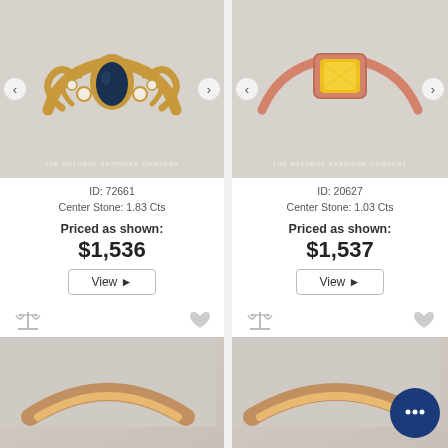[Figure (photo): Gold ring with dark blue pear-shaped sapphire center stone and small diamond accents on each side, on a light gray background. Watermark: THE NATURAL SAPPHIRE COMPANY]
ID: 72661
Center Stone: 1.83 Cts
Priced as shown:
$1,536
View ▶
[Figure (photo): Rose gold ring with yellow sapphire emerald-cut center stone in bezel setting, on a light gray background. Watermark: THE NATURAL SAPPHIRE COMPANY]
ID: 20627
Center Stone: 1.03 Cts
Priced as shown:
$1,537
View ▶
[Figure (photo): Bottom left: partial view of a rose gold ring on light gray background]
[Figure (photo): Bottom right: partial view of a rose gold ring on light gray background, with a dark blue chat bubble icon overlay showing three dots]